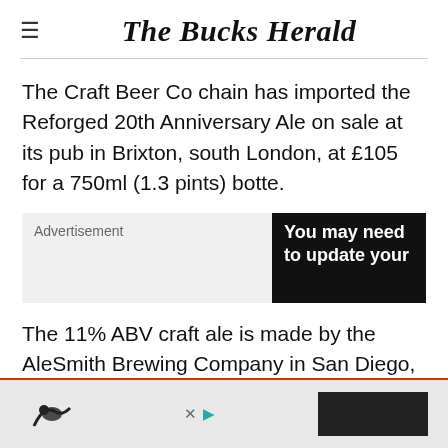The Bucks Herald
The Craft Beer Co chain has imported the Reforged 20th Anniversary Ale on sale at its pub in Brixton, south London, at £105 for a 750ml (1.3 pints) botte.
[Figure (other): Advertisement block with grey label area reading 'Advertisement' on left and black box on right reading 'You may need to update your']
The 11% ABV craft ale is made by the AleSmith Brewing Company in San Diego, California, and is aged in a bourbon barrel for 18 months
[Figure (other): Bottom advertisement banner with bird logo, X and play button controls, and a dark rectangular button on the right]